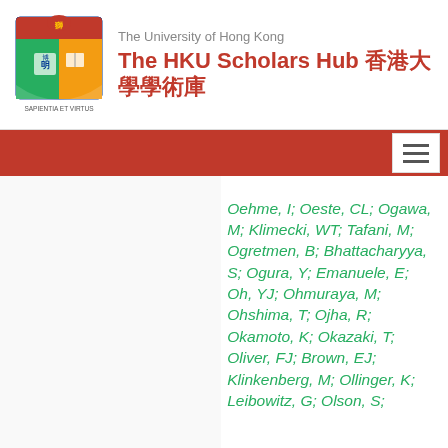The University of Hong Kong — The HKU Scholars Hub 香港大學學術庫
Oehme, I; Oeste, CL; Ogawa, M; Klimecki, WT; Tafani, M; Ogretmen, B; Bhattacharyya, S; Ogura, Y; Emanuele, E; Oh, YJ; Ohmuraya, M; Ohshima, T; Ojha, R; Okamoto, K; Okazaki, T; Oliver, FJ; Brown, EJ; Klinkenberg, M; Ollinger, K; Leibowitz, G; Olson, S;